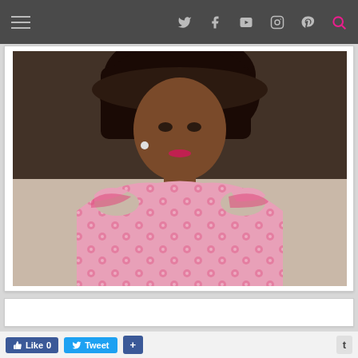[Figure (screenshot): Website screenshot showing a navigation bar at top with hamburger menu, social icons (Twitter, Facebook, YouTube, Instagram, Pinterest, Search), a photograph of a woman wearing a pink floral lace cold-shoulder dress, two white content cards, and a partial section header reading 'YOUR CUSTOMERS READ THIS BLOG', with a social sharing bar at the bottom (Like 0, Tweet, +, t buttons).]